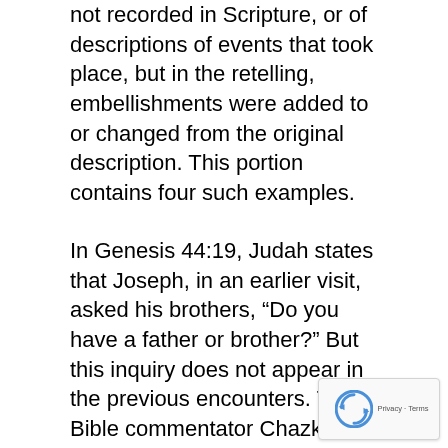not recorded in Scripture, or of descriptions of events that took place, but in the retelling, embellishments were added to or changed from the original description. This portion contains four such examples.
In Genesis 44:19, Judah states that Joseph, in an earlier visit, asked his brothers, “Do you have a father or brother?” But this inquiry does not appear in the previous encounters. The Bible commentator Chazkunee notes this and remarks that it is not uncommon for Scripture to insert unrecorded details in later speeches.
The same applies to 44:21, where Judah ass that Joseph told the brothers to bring Benjam...